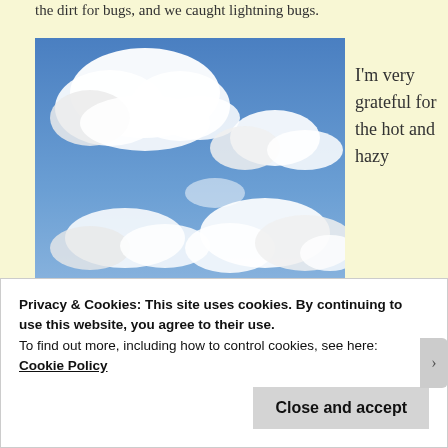the dirt for bugs, and we caught lightning bugs.
[Figure (photo): Blue sky with white cumulus clouds photographed from below]
I'm very grateful for the hot and hazy
Clockwise from top: Mighty Mouse with Elvis hair. A dolphin, or a shark chomping its prey. A mouse with its nose sticking up. What
Privacy & Cookies: This site uses cookies. By continuing to use this website, you agree to their use.
To find out more, including how to control cookies, see here:
Cookie Policy